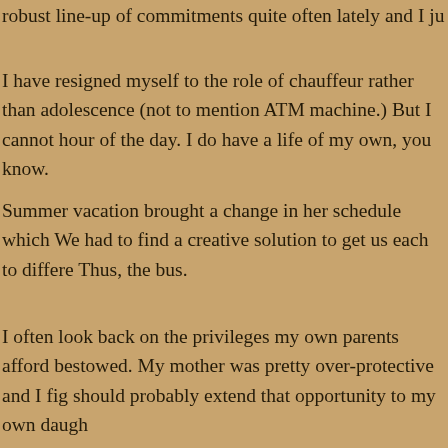robust line-up of commitments quite often lately and I ju
I have resigned myself to the role of chauffeur rather than adolescence (not to mention ATM machine.) But I cannot hour of the day. I do have a life of my own, you know.
Summer vacation brought a change in her schedule which We had to find a creative solution to get us each to differe Thus, the bus.
I often look back on the privileges my own parents afford bestowed. My mother was pretty over-protective and I fig should probably extend that opportunity to my own daugh
I was allowed to take the bus from Buena Park, CA to Hu the summer before ninth grade in 1974.
Today I let her ride the bus to the local park where she is whole minutes–so that I could attend my weekly meeting
Like I said before, I was nervous. When I asked her what